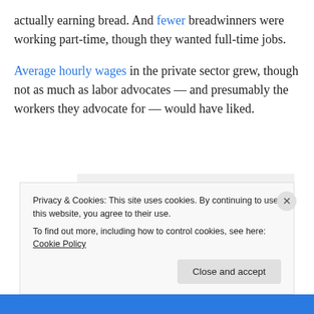actually earning bread. And fewer breadwinners were working part-time, though they wanted full-time jobs.
Average hourly wages in the private sector grew, though not as much as labor advocates — and presumably the workers they advocate for — would have liked.
[Figure (other): Advertisement banner: 'Getting your team on the same page is easy. And free.' with four avatar circles below (three person photos and one blue circle with 'i')]
Privacy & Cookies: This site uses cookies. By continuing to use this website, you agree to their use.
To find out more, including how to control cookies, see here: Cookie Policy